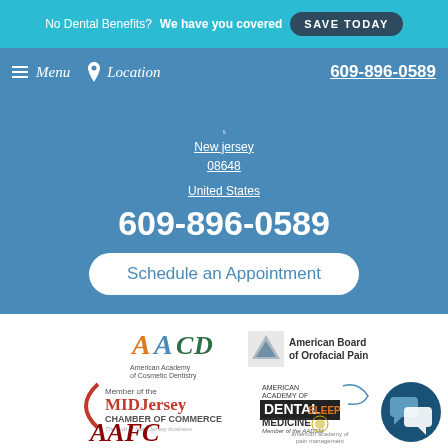No Dental Benefits? We have you covered SAVE TODAY
Menu  Location  609-896-0589
New jersey
08648
United States
609-896-0589
Schedule an Appointment
[Figure (logo): American Academy of Cosmetic Dentistry logo (AACD)]
[Figure (logo): American Board of Orofacial Pain logo]
[Figure (logo): Member of the MIDJersey Chamber of Commerce logo]
[Figure (logo): American Academy of Dental Sleep Medicine (AADSM) logo]
[Figure (logo): AAFC logo (partially visible)]
[Figure (logo): American Academy of Pain Management logo (partially visible)]
[Figure (illustration): Chat support button icon]